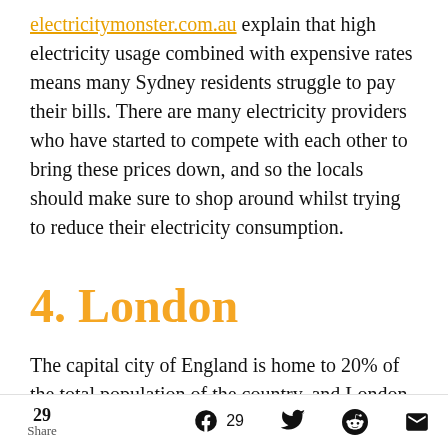electricitymonster.com.au explain that high electricity usage combined with expensive rates means many Sydney residents struggle to pay their bills. There are many electricity providers who have started to compete with each other to bring these prices down, and so the locals should make sure to shop around whilst trying to reduce their electricity consumption.
4. London
The capital city of England is home to 20% of the total population of the country, and London uses
29 Share   29 (Facebook)  (Twitter)  (Reddit)  (Email)